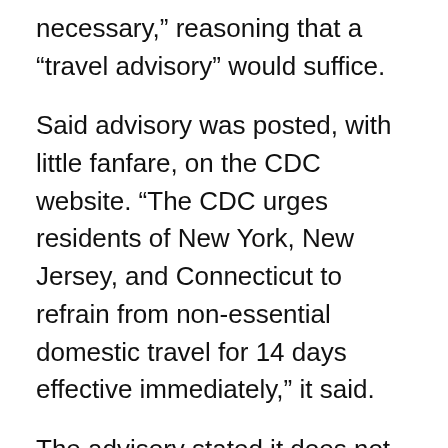necessary,” reasoning that a “travel advisory” would suffice.
Said advisory was posted, with little fanfare, on the CDC website. “The CDC urges residents of New York, New Jersey, and Connecticut to refrain from non-essential domestic travel for 14 days effective immediately,” it said.
The advisory stated it does not apply to such critical industries as trucking, public health, banking and food supply.
Trump had said that he was considering imposing an “enforced” two-week quarantine and travel ban on New York, New Jersey and parts of Connecticut in hopes of protecting the